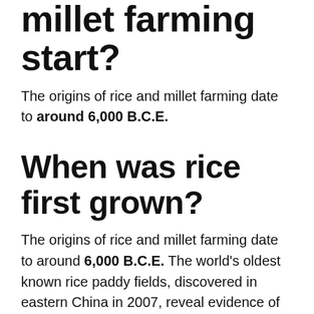millet farming start?
The origins of rice and millet farming date to around 6,000 B.C.E.
When was rice first grown?
The origins of rice and millet farming date to around 6,000 B.C.E. The world's oldest known rice paddy fields, discovered in eastern China in 2007, reveal evidence of ancient cultivation techniques such as flood and fire control.